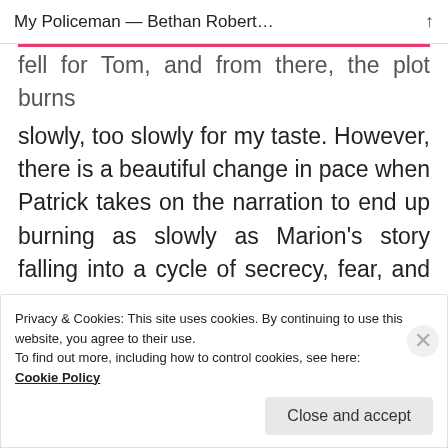My Policeman — Bethan Robert…
fell for Tom, and from there, the plot burns slowly, too slowly for my taste. However, there is a beautiful change in pace when Patrick takes on the narration to end up burning as slowly as Marion's story falling into a cycle of secrecy, fear, and treason.
ADD TO CART NOW!
FREE WITH AUDIBLE
Privacy & Cookies: This site uses cookies. By continuing to use this website, you agree to their use.
To find out more, including how to control cookies, see here:
Cookie Policy
Close and accept